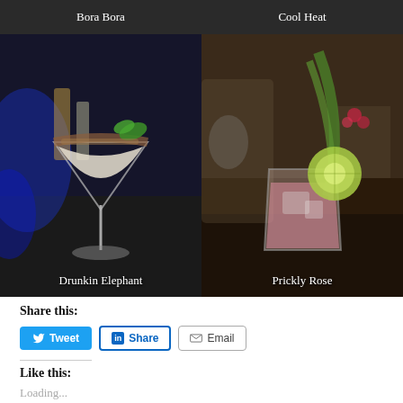[Figure (photo): Top strip showing two cocktail photo labels: 'Bora Bora' on the left and 'Cool Heat' on the right, both on dark backgrounds]
[Figure (photo): Left cocktail photo: 'Drunkin Elephant' — a creamy white martini glass with spiced rim and jalapeño garnish, against a blue-lit bar background]
[Figure (photo): Right cocktail photo: 'Prickly Rose' — a pink drink in a rocks glass with lime wheel and pineapple leaf garnish, on a dark wooden bar]
Share this:
Tweet
Share
Email
Like this:
Loading...